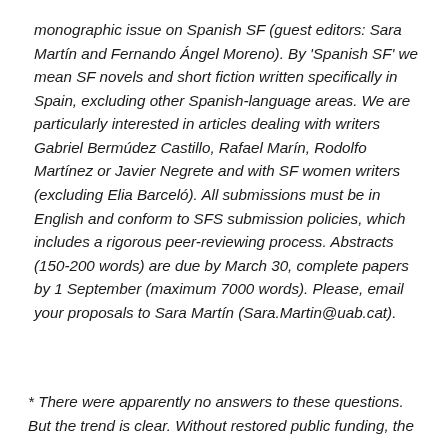monographic issue on Spanish SF (guest editors: Sara Martín and Fernando Ángel Moreno). By 'Spanish SF' we mean SF novels and short fiction written specifically in Spain, excluding other Spanish-language areas. We are particularly interested in articles dealing with writers Gabriel Bermúdez Castillo, Rafael Marín, Rodolfo Martínez or Javier Negrete and with SF women writers (excluding Elia Barceló). All submissions must be in English and conform to SFS submission policies, which includes a rigorous peer-reviewing process. Abstracts (150-200 words) are due by March 30, complete papers by 1 September (maximum 7000 words). Please, email your proposals to Sara Martín (Sara.Martin@uab.cat).
* There were apparently no answers to these questions. But the trend is clear. Without restored public funding, the